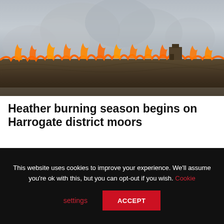[Figure (photo): A moorland fire with flames visible on the horizon, thick smoke rising into a grey sky, dark heather moorland in the foreground, and a small building visible to the right.]
Heather burning season begins on Harrogate district moors
by John Plummer | Last updated Oct 11, 2021 | Agriculture, Community, Environment, Masham, Nidderdale, Pateley Bridge, Rural
Burning to remove old heather and promote new growth in spring has begun on moors
This website uses cookies to improve your experience. We'll assume you're ok with this, but you can opt-out if you wish. Cookie settings ACCEPT